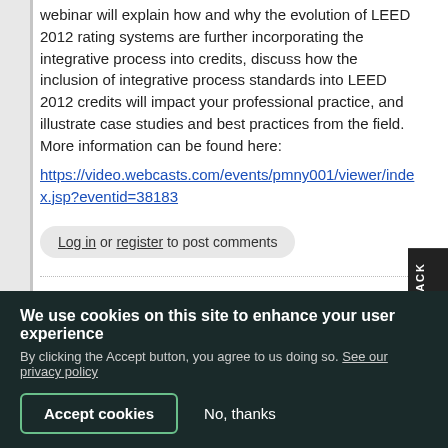webinar will explain how and why the evolution of LEED 2012 rating systems are further incorporating the integrative process into credits, discuss how the inclusion of integrative process standards into LEED 2012 credits will impact your professional practice, and illustrate case studies and best practices from the field. More information can be found here:
https://video.webcasts.com/events/pmny001/viewer/index.jsp?eventid=38183
Log in or register to post comments
Michael, I agree that in this
We use cookies on this site to enhance your user experience
By clicking the Accept button, you agree to us doing so. See our privacy policy